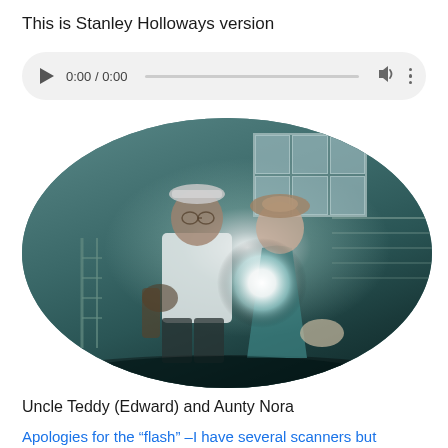This is Stanley Holloways version
[Figure (other): Audio player widget showing 0:00 / 0:00 with play button, seek bar, volume icon, and more options button]
[Figure (photo): Old oval-framed photograph of two people standing outside a building — Uncle Teddy (Edward) and Aunty Nora. The photo has a bright camera flash visible in the center. The image has a teal/cyan colour cast typical of old film photography.]
Uncle Teddy (Edward) and Aunty Nora
Apologies for the “flash” –I have several scanners but